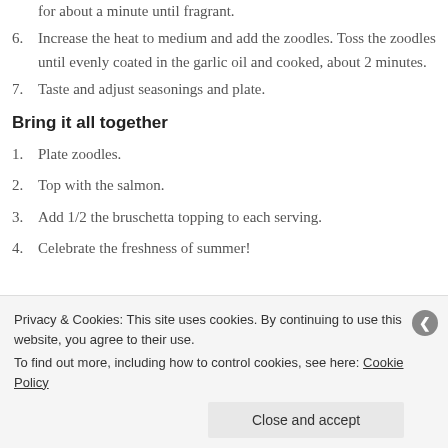for about a minute until fragrant.
6. Increase the heat to medium and add the zoodles. Toss the zoodles until evenly coated in the garlic oil and cooked, about 2 minutes.
7. Taste and adjust seasonings and plate.
Bring it all together
1. Plate zoodles.
2. Top with the salmon.
3. Add 1/2 the bruschetta topping to each serving.
4. Celebrate the freshness of summer!
Privacy & Cookies: This site uses cookies. By continuing to use this website, you agree to their use. To find out more, including how to control cookies, see here: Cookie Policy
Close and accept